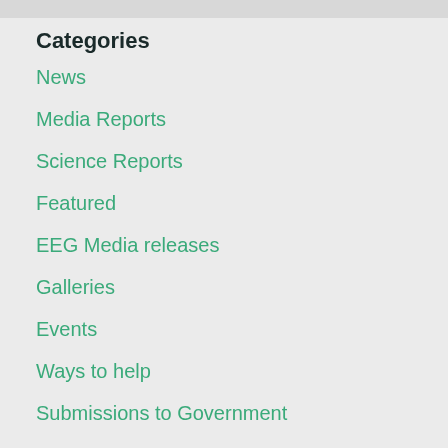Categories
News
Media Reports
Science Reports
Featured
EEG Media releases
Galleries
Events
Ways to help
Submissions to Government